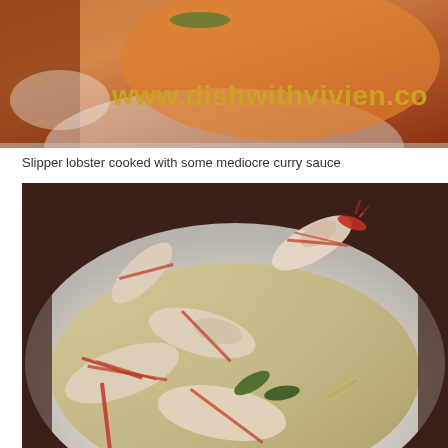[Figure (photo): Top portion of a food photo showing a dish with curry sauce and a website watermark 'www.dishwithvivien.co' in gold/yellow text overlay]
Slipper lobster cooked with some mediocre curry sauce
[Figure (photo): Close-up photo of prawns/shrimp cooked in a creamy curry sauce served on a white plate, with visible curry leaves and lemongrass]